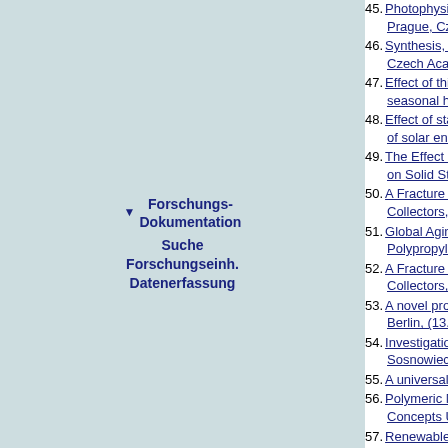45. Photophysical and transport properties of poly(ary... Prague, Czech Academy of Sciences, (12.09.2017)
46. Synthesis, caracterisation and photophisical prope... Czech Academy of Sciences, (12.09.2017)
47. Effect of thickness and temperature on the aging b... seasonal heat storages, , (11.09.2017)
48. Effect of stabilizers on the failure behavior of glass... of solar energy applications, , (22.04.2017)
49. The Effect of Variations in the Polymer Characteris... on Solid State Properties and Photovoltaic Perform...
50. A Fracture Mechanics Based Lifetime Assessment... Collectors, , (12.10.2016)
51. Global Aging and Lifetime Prediction of Polymeric ... Polypropylene Absorbers for pumped Systems, , (...
52. A Fracture Me-chanics Based Lifetime Assessmen... Collectors, , (11.10.2016)
53. A novel procedure for characterizing fatigue crack ... Berlin, (13.09.2016)
54. Investigation of the pressure-throughout behaviour... Sosnowiec, (13.10.2015)
55. A universal model for the output-pressure characte...
56. Polymeric Materials for Solar-Thermal Collectors ?... Concepts Using the CES Selector, Gmunden, Öste...
57. Renewable Energy Scenarios and Potentials for P... Gmunden, Österreich Gmunden, (11.05.2015)
58. Detecting the Phase Transition of Paraffin with TH... (09.03.2015)
59. Optimierte Auslegung von thermoplastischen Leich...
60. Aging behavior of novel ionomer-based embeddin...
61. Basic characterization of polyethylene terephthala... (04.11.2014)
62. Quantitative measurement of melt temperatures d... machines, , (26.09.2014)
63. Neuartige Polyolefine für solarthermische Absorbe...
64. Polyolefin materials for solarthermal absorbers an...
65. Polyolefin materials for solarthermal absorbers an...
Forschungs-Dokumentation
Suche
Forschungseinh.
Datenerfassung